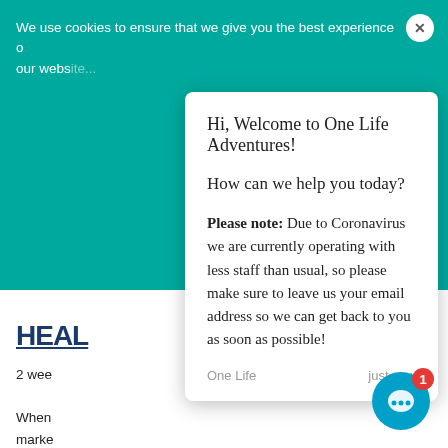We use cookies to ensure that we give you the best experience on our website...
Hi, Welcome to One Life Adventures!
How can we help you today?
Please note: Due to Coronavirus we are currently operating with less staff than usual, so please make sure to leave us your email address so we can get back to you as soon as possible!
One Life   just now
accessible for the masses. The interactive animations help explain the concepts and techniques of medi... for those amongst us that are more visual learners.
Other features that set this app apart are the live